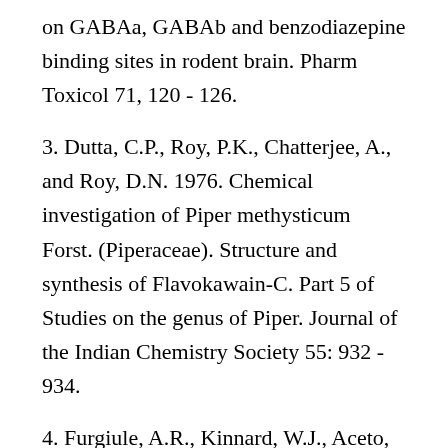on GABAa, GABAb and benzodiazepine binding sites in rodent brain. Pharm Toxicol 71, 120 - 126.
3. Dutta, C.P., Roy, P.K., Chatterjee, A., and Roy, D.N. 1976. Chemical investigation of Piper methysticum Forst. (Piperaceae). Structure and synthesis of Flavokawain-C. Part 5 of Studies on the genus of Piper. Journal of the Indian Chemistry Society 55: 932 - 934.
4. Furgiule, A.R., Kinnard, W.J., Aceto, M.D., and Buckley, J.P. 1965. Central activity of aqueous extracts of Piper methysticum (kava). Journal of Pharmaceutical Sciences 154: 247 - 252.
5. Hansel, R. 1968. Characterization and physiological activity of some kava constituents Pacific Science 22: 269 - 272.